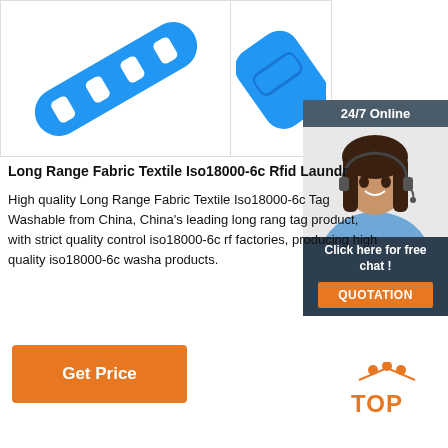[Figure (photo): Two blue silicone RFID laundry tags with rectangular holes shown from different angles on white background]
Long Range Fabric Textile Iso18000-6c Rfid Laundr
High quality Long Range Fabric Textile Iso18000-6c Tag Washable from China, China's leading long range tag product, with strict quality control iso18000-6c rfid factories, producing high quality iso18000-6c washa products.
[Figure (infographic): 24/7 Online customer support chat widget showing a woman with headset, 'Click here for free chat!' text, and QUOTATION button]
[Figure (other): Get Price orange button]
[Figure (other): TOP navigation icon with orange dots and text]